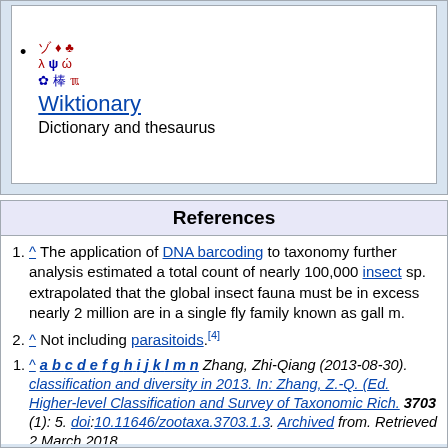Wiktionary – Dictionary and thesaurus
References
^ The application of DNA barcoding to taxonomy further analysis estimated a total count of nearly 100,000 insect sp. extrapolated that the global insect fauna must be in excess nearly 2 million are in a single fly family known as gall m.
^ Not including parasitoids.[4]
^ a b c d e f g h i j k l m n Zhang, Zhi-Qiang (2013-08-30). classification and diversity in 2013. In: Zhang, Z.-Q. (Ed. Higher-level Classification and Survey of Taxonomic Rich. 3703 (1): 5. doi:10.11646/zootaxa.3703.1.3. Archived from. Retrieved 2 March 2018.
^ a b c d e f g h i j Balian, E. V.; Lévêque, C.; Segers, H.; M. Animal Diversity Assessment. Springer. p. 628. ISBN 978-
^ a b c d e f g h i j k l m n Hogenboom, Melissa. "There are really weird". BBC Earth. Archived from the original on